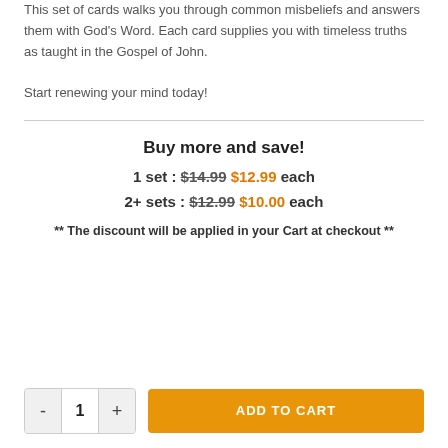This set of cards walks you through common misbeliefs and answers them with God's Word. Each card supplies you with timeless truths as taught in the Gospel of John.
Start renewing your mind today!
Buy more and save!
1 set : $14.99 $12.99 each
2+ sets : $12.99 $10.00 each
** The discount will be applied in your Cart at checkout **